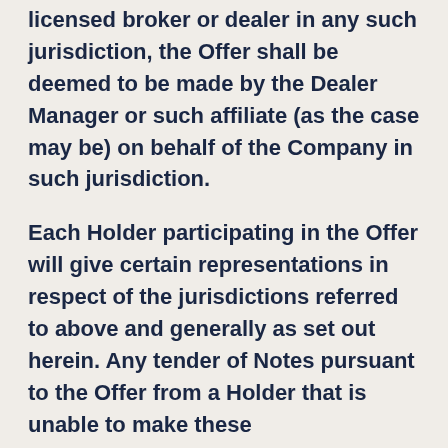licensed broker or dealer in any such jurisdiction, the Offer shall be deemed to be made by the Dealer Manager or such affiliate (as the case may be) on behalf of the Company in such jurisdiction.
Each Holder participating in the Offer will give certain representations in respect of the jurisdictions referred to above and generally as set out herein. Any tender of Notes pursuant to the Offer from a Holder that is unable to make these representations will not be accepted. Each of the Company, the Dealer Manager, the Tender Agent and Information Agent reserves the right, in its absolute discretion, to investigate, in relation to any tender of Notes pursuant to the Offer,